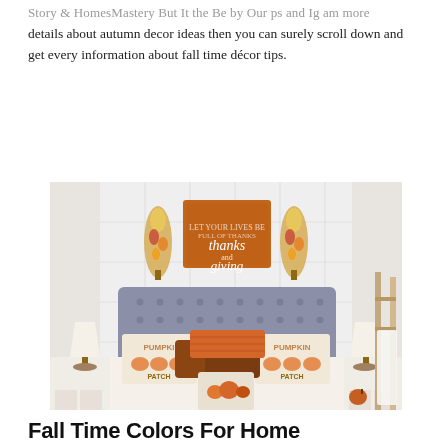Story & HomesMastery But It the Be by Our ps and Ig am more details about autumn decor ideas then you can surely scroll down and get every information about fall time décor tips.
[Figure (photo): A fall-decorated bedroom with a grey tufted headboard, white shiplap wall, a 'thanks and giving' orange framed sign, two autumn floral/corn stalk swag decorations on either side of the sign, pumpkin patch throw pillows, brown leather accent pillows, white bedding, and white nightstands with lamps on each side.]
Fall Time Colors For Home